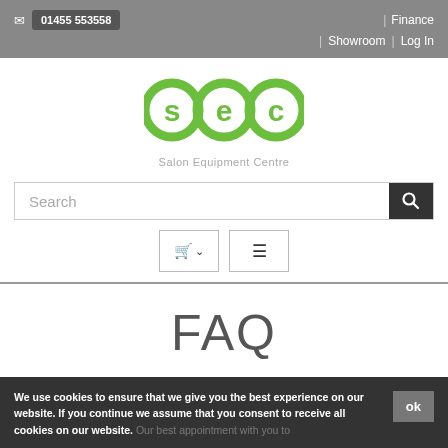✉ 01455 553558 | Finance | Showroom | Log In
[Figure (logo): SEC Salon Equipment Centre green circular logo with S, E, C letters and tagline 'Salon Equipment Centre']
Search
FAQ
We use cookies to ensure that we give you the best experience on our website. If you continue we assume that you consent to receive all cookies on our website.